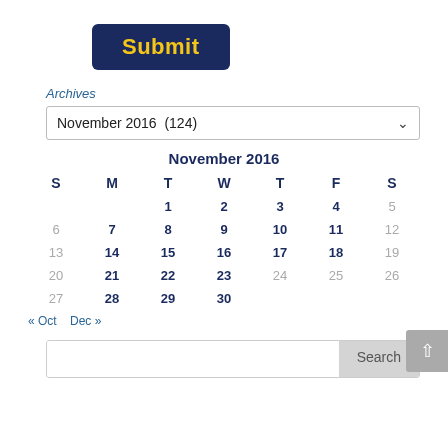[Figure (other): Submit button with dark navy background and yellow bold text]
Archives
[Figure (other): Dropdown select showing November 2016 (124) with chevron]
| S | M | T | W | T | F | S |
| --- | --- | --- | --- | --- | --- | --- |
|  |  | 1 | 2 | 3 | 4 | 5 |
| 6 | 7 | 8 | 9 | 10 | 11 | 12 |
| 13 | 14 | 15 | 16 | 17 | 18 | 19 |
| 20 | 21 | 22 | 23 | 24 | 25 | 26 |
| 27 | 28 | 29 | 30 |  |  |  |
« Oct   Dec »
[Figure (other): Search bar with text input and Search button]